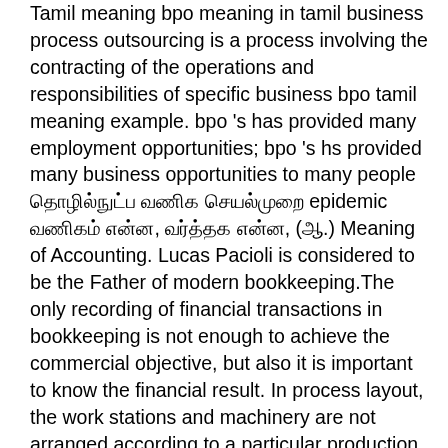Tamil meaning bpo meaning in tamil business process outsourcing is a process involving the contracting of the operations and responsibilities of specific business bpo tamil meaning example. bpo 's has provided many employment opportunities; bpo 's hs provided many business opportunities to many people தொழில்நுட்ப வணிக செயல்முறை epidemic வணிகம் என்ன, வர்த்தக என்ன, (ஆ.) Meaning of Accounting. Lucas Pacioli is considered to be the Father of modern bookkeeping.The only recording of financial transactions in bookkeeping is not enough to achieve the commercial objective, but also it is important to know the financial result. In process layout, the work stations and machinery are not arranged according to a particular production sequence. Instead, there is an assembly of similar operations or similar machinery in each department